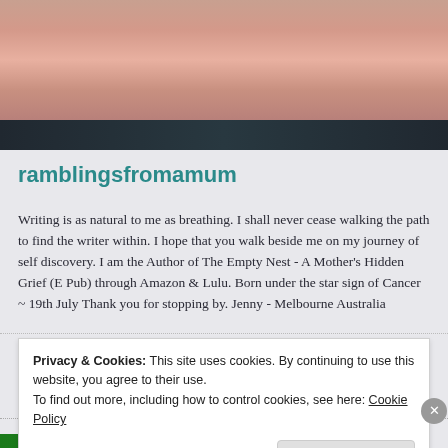[Figure (photo): Close-up photo of a woman's neck and lower face, wearing a gold necklace, against a dark teal background]
ramblingsfromamum
Writing is as natural to me as breathing. I shall never cease walking the path to find the writer within. I hope that you walk beside me on my journey of self discovery. I am the Author of The Empty Nest - A Mother's Hidden Grief (E Pub) through Amazon & Lulu. Born under the star sign of Cancer ~ 19th July Thank you for stopping by. Jenny - Melbourne Australia
View Full Profile →
Privacy & Cookies: This site uses cookies. By continuing to use this website, you agree to their use.
To find out more, including how to control cookies, see here: Cookie Policy
Close and accept